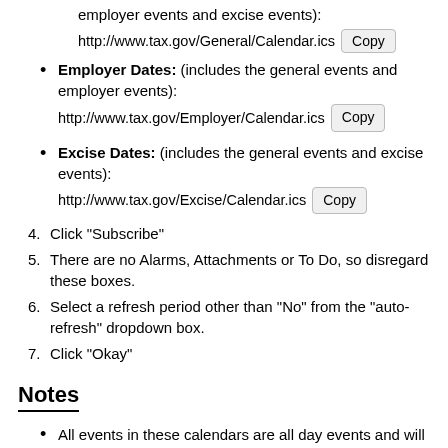employer events and excise events):
http://www.tax.gov/General/Calendar.ics  [Copy]
Employer Dates: (includes the general events and employer events):
http://www.tax.gov/Employer/Calendar.ics  [Copy]
Excise Dates: (includes the general events and excise events):
http://www.tax.gov/Excise/Calendar.ics  [Copy]
4. Click "Subscribe"
5. There are no Alarms, Attachments or To Do, so disregard these boxes.
6. Select a refresh period other than "No" from the "auto-refresh" dropdown box.
7. Click "Okay"
Notes
All events in these calendars are all day events and will appear in the all day section of iCal.